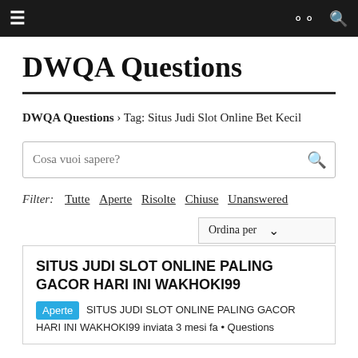≡   ∞   🔍
DWQA Questions
DWQA Questions › Tag: Situs Judi Slot Online Bet Kecil
Cosa vuoi sapere?
Filter:  Tutte  Aperte  Risolte  Chiuse  Unanswered
Ordina per
SITUS JUDI SLOT ONLINE PALING GACOR HARI INI WAKHOKI99
Aperte SITUS JUDI SLOT ONLINE PALING GACOR HARI INI WAKHOKI99 inviata 3 mesi fa • Questions